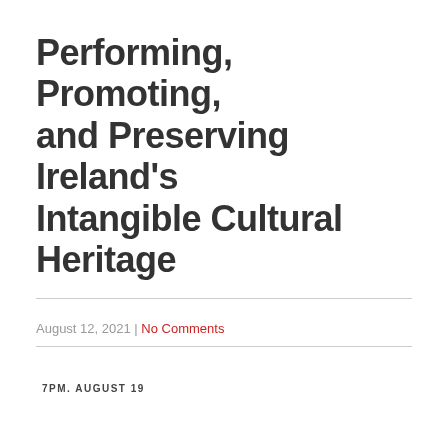Performing, Promoting, and Preserving Ireland's Intangible Cultural Heritage
August 12, 2021 | No Comments
7PM. AUGUST 19